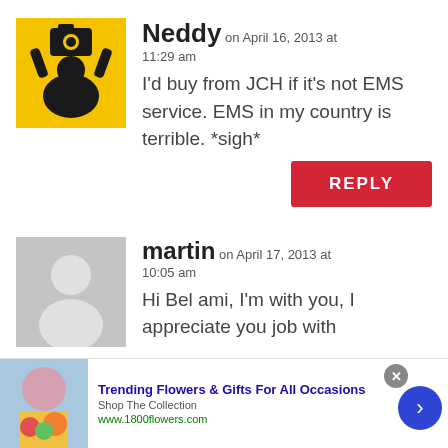[Figure (illustration): Yellow square avatar with black silhouette of a person holding a camera above their head]
Neddy on April 16, 2013 at 11:29 am
I'd buy from JCH if it's not EMS service. EMS in my country is terrible. *sigh*
[Figure (illustration): Gray default avatar silhouette of a person]
martin on April 17, 2013 at 10:05 am
Hi Bel ami, I'm with you, I appreciate you job with
[Figure (photo): Advertisement banner: woman with flowers, Trending Flowers & Gifts For All Occasions, Shop The Collection, www.1800flowers.com]